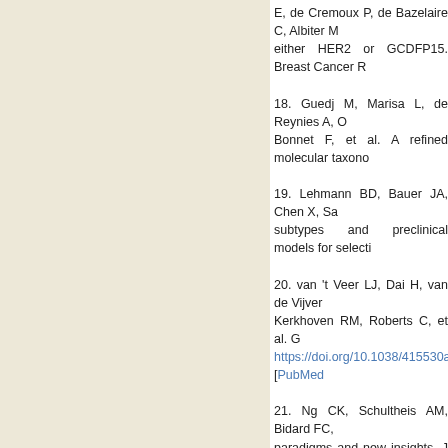E, de Cremoux P, de Bazelaire C, Albiter M... either HER2 or GCDFP15. Breast Cancer R...
18. Guedj M, Marisa L, de Reynies A, O... Bonnet F, et al. A refined molecular taxono...
19. Lehmann BD, Bauer JA, Chen X, Sa... subtypes and preclinical models for selecti...
20. van 't Veer LJ, Dai H, van de Vijve... Kerkhoven RM, Roberts C, et al. G... https://doi.org/10.1038/415530a. [PubMed]
21. Ng CK, Schultheis AM, Bidard FC,... paradigms and new insights. J Natl Cancer...
22. van de Vijver MJ, He YD, van't Veer... Witteveen A, et al. A gene-expression... https://doi.org/10.1056/NEJMoa021967. [P...]
23. Paik S, Shak S, Tang G, Kim C, Bake... multigene assay to predict recurrenc... https://doi.org/10.1056/NEJMoa041588. [P...]
24. Parker JS, Mullins M, Cheang MC, Leu... Supervised risk predictor of breast cancer... [PubMed].